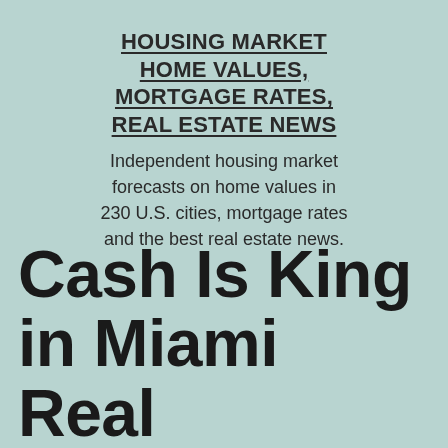HOUSING MARKET HOME VALUES, MORTGAGE RATES, REAL ESTATE NEWS
Independent housing market forecasts on home values in 230 U.S. cities, mortgage rates and the best real estate news.
Cash Is King in Miami Real